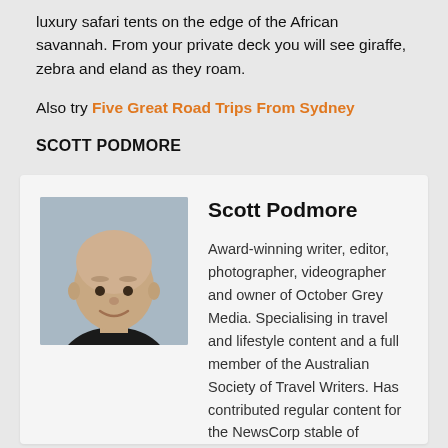luxury safari tents on the edge of the African savannah. From your private deck you will see giraffe, zebra and eland as they roam.
Also try Five Great Road Trips From Sydney
SCOTT PODMORE
[Figure (photo): Headshot of Scott Podmore, a bald man smiling, wearing a dark top, against a light blue-grey background]
Scott Podmore
Award-winning writer, editor, photographer, videographer and owner of October Grey Media. Specialising in travel and lifestyle content and a full member of the Australian Society of Travel Writers. Has contributed regular content for the NewsCorp stable of